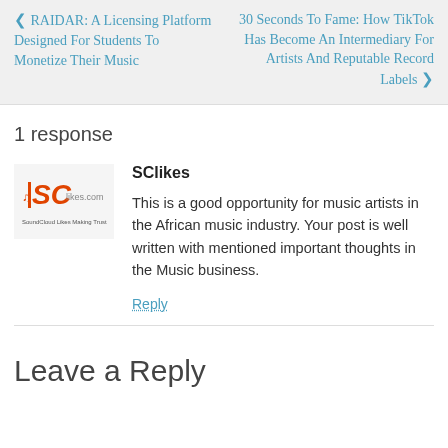❮ RAIDAR: A Licensing Platform Designed For Students To Monetize Their Music
30 Seconds To Fame: How TikTok Has Become An Intermediary For Artists And Reputable Record Labels ❯
1 response
[Figure (logo): SClikes logo - SoundCloud Likes Making Trust]
SClikes
This is a good opportunity for music artists in the African music industry. Your post is well written with mentioned important thoughts in the Music business.
Reply
Leave a Reply